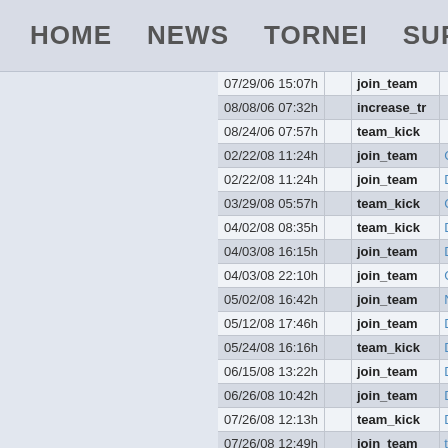HOME  NEWS  TORNEI  SUPPORTO
| date |  | action | user |
| --- | --- | --- | --- |
| 07/29/06 15:07h |  | join_team |  |
| 08/08/06 07:32h |  | increase_tr |  |
| 08/24/06 07:57h |  | team_kick |  |
| 02/22/08 11:24h |  | join_team | G |
| 02/22/08 11:24h |  | join_team | D |
| 03/29/08 05:57h |  | team_kick | G |
| 04/02/08 08:35h |  | team_kick | D |
| 04/03/08 16:15h |  | join_team | D |
| 04/03/08 22:10h |  | join_team | G |
| 05/02/08 16:42h |  | join_team | N |
| 05/12/08 17:46h |  | join_team | D |
| 05/24/08 16:16h |  | team_kick | D |
| 06/15/08 13:22h |  | join_team | D |
| 06/26/08 10:42h |  | join_team | D |
| 07/26/08 12:13h |  | team_kick | D |
| 07/26/08 12:49h |  | join_team | t |
| 07/27/08 09:13h |  | first_login_s |  |
| 08/04/08 16:14h |  | team_kick | G |
| 08/07/08 21:48h |  | decrease_tr |  |
| 08/21/08 13:43h |  | leave_team |  |